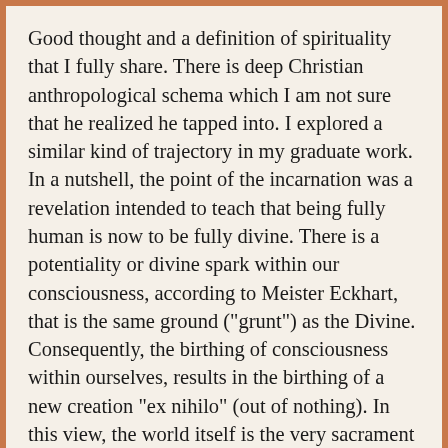Good thought and a definition of spirituality that I fully share. There is deep Christian anthropological schema which I am not sure that he realized he tapped into. I explored a similar kind of trajectory in my graduate work. In a nutshell, the point of the incarnation was a revelation intended to teach that being fully human is now to be fully divine. There is a potentiality or divine spark within our consciousness, according to Meister Eckhart, that is the same ground ("grunt") as the Divine. Consequently, the birthing of consciousness within ourselves, results in the birthing of a new creation "ex nihilo" (out of nothing). In this view, the world itself is the very sacrament of God or at least intended to be so. Thus, our sphere of awareness through consciousness compels us to create, to build, to give new life, to heal, to work for justice. Certainly, the mystery of suffering remains and natural philosophers